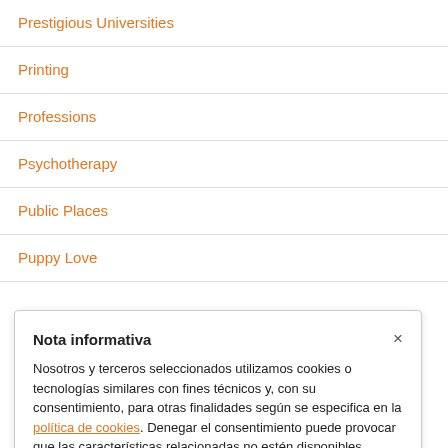Prestigious Universities
Printing
Professions
Psychotherapy
Public Places
Puppy Love
Nota informativa
Nosotros y terceros seleccionados utilizamos cookies o tecnologías similares con fines técnicos y, con su consentimiento, para otras finalidades según se especifica en la política de cookies. Denegar el consentimiento puede provocar que las características relacionadas no estén disponibles.